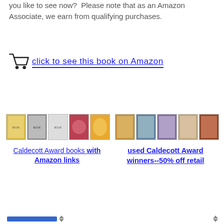you like to see now?  Please note that as an Amazon Associate, we earn from qualifying purchases.
[Figure (other): Shopping cart icon with text 'click to see this book on Amazon' as a blue underlined link]
[Figure (other): Row of 5 small Caldecott Award book thumbnail images]
Caldecott Award books with Amazon links
[Figure (other): Row of 5 small used Caldecott Award book thumbnail images]
used Caldecott Award winners--50% off retail